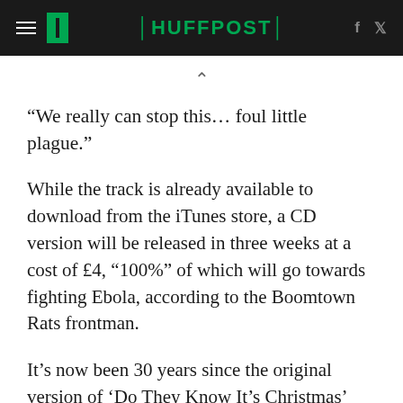HUFFPOST
“We really can stop this… foul little plague.”
While the track is already available to download from the iTunes store, a CD version will be released in three weeks at a cost of £4, “100%” of which will go towards fighting Ebola, according to the Boomtown Rats frontman.
It’s now been 30 years since the original version of ‘Do They Know It’s Christmas’ topped the charts, raising £8 million towards famine relief in Africa, and inspiring the epic live music event,